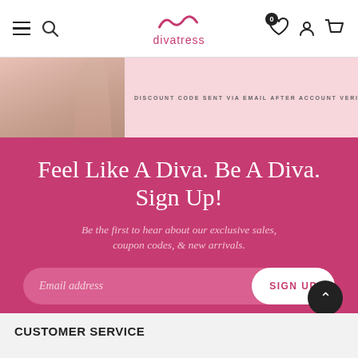divatress navigation bar with hamburger menu, search, logo, wishlist, account, and cart icons
[Figure (photo): Pink banner with partial woman figure in beige outfit. Text reads: DISCOUNT CODE SENT VIA EMAIL AFTER ACCOUNT VERIFICATION]
Feel Like A Diva. Be A Diva. Sign Up!
Be the first to hear about our exclusive sales, coupon codes, & new arrivals.
Email address  SIGN UP
CUSTOMER SERVICE